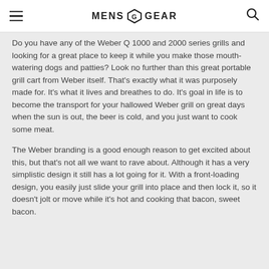MENS GEAR
Do you have any of the Weber Q 1000 and 2000 series grills and looking for a great place to keep it while you make those mouth-watering dogs and patties? Look no further than this great portable grill cart from Weber itself. That’s exactly what it was purposely made for. It’s what it lives and breathes to do. It’s goal in life is to become the transport for your hallowed Weber grill on great days when the sun is out, the beer is cold, and you just want to cook some meat.
The Weber branding is a good enough reason to get excited about this, but that’s not all we want to rave about. Although it has a very simplistic design it still has a lot going for it. With a front-loading design, you easily just slide your grill into place and then lock it, so it doesn’t jolt or move while it’s hot and cooking that bacon, sweet bacon.